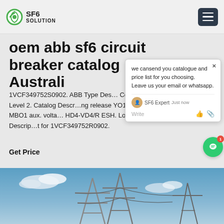SF6 SOLUTION
oem abb sf6 circuit breaker catalog Australia
1VCF349752S0902. ABB Type Des... Certification Level 2. Catalog Descr... ng release YO1-MO1-MBO1 aux. volta... HD4-VD4/R ESH. Long Descrip... t for 1VCF349752R0902.
Get Price
[Figure (photo): Power transmission towers/pylons against a blue sky with clouds]